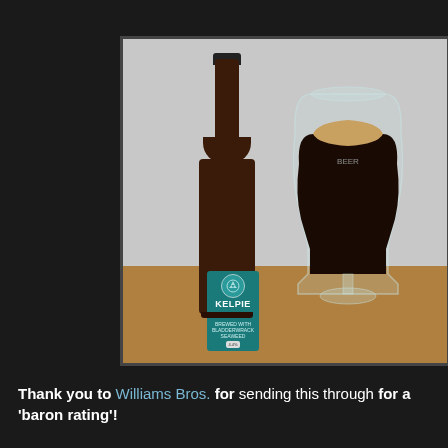[Figure (photo): A bottle of Kelpie beer (dark brown bottle with teal label reading 'KELPIE') standing next to a tulip-shaped beer glass filled with very dark beer and a small tan head, placed on a wooden surface against a light grey/white wall.]
Thank you to Williams Bros. for sending this through for a 'baron rating'!